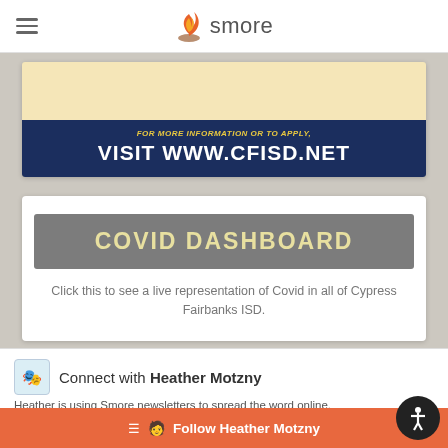smore
[Figure (screenshot): CFISD advertisement banner: yellow background with dark blue box containing text 'FOR MORE INFORMATION OR TO APPLY, VISIT WWW.CFISD.NET' in white and gold.]
COVID DASHBOARD
Click this to see a live representation of Covid in all of Cypress Fairbanks ISD.
Connect with Heather Motzny
Heather is using Smore newsletters to spread the word online.
Follow Heather Motzny